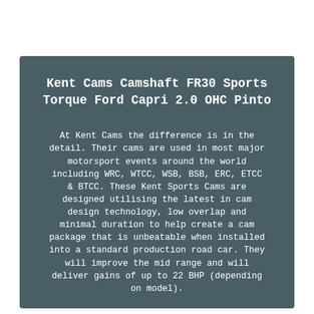Kent Cams Camshaft FR30 Sports Torque Ford Capri 2.0 OHC Pinto
At Kent Cams the difference is in the detail. Their cams are used in most major motorsport events around the world including WRC, WTCC, WSB, BSB, ERC, ETCC & BTCC. These Kent Sports Cams are designed utilising the latest in cam design technology, low overlap and minimal duration to help create a cam package that is unbeatable when installed into a standard production road car. They will improve the mid range and will deliver gains of up to 22 BHP (depending on model).
No other modifications are necessary to